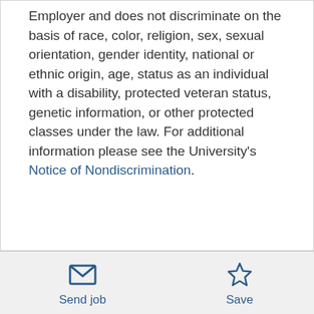Employer and does not discriminate on the basis of race, color, religion, sex, sexual orientation, gender identity, national or ethnic origin, age, status as an individual with a disability, protected veteran status, genetic information, or other protected classes under the law. For additional information please see the University's Notice of Nondiscrimination.
Send job | Save